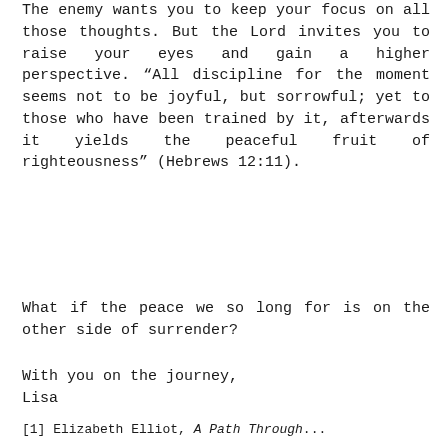The enemy wants you to keep your focus on all those thoughts. But the Lord invites you to raise your eyes and gain a higher perspective. “All discipline for the moment seems not to be joyful, but sorrowful; yet to those who have been trained by it, afterwards it yields the peaceful fruit of righteousness” (Hebrews 12:11).
What if the peace we so long for is on the other side of surrender?
With you on the journey,
Lisa
[1] Elizabeth Elliot, A Path Through...